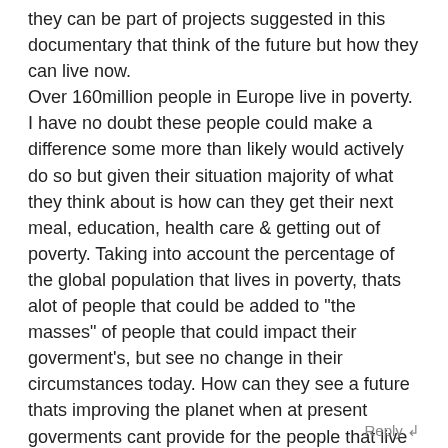they can be part of projects suggested in this documentary that think of the future but how they can live now. Over 160million people in Europe live in poverty. I have no doubt these people could make a difference some more than likely would actively do so but given their situation majority of what they think about is how can they get their next meal, education, health care & getting out of poverty. Taking into account the percentage of the global population that lives in poverty, thats alot of people that could be added to "the masses" of people that could impact their goverment's, but see no change in their circumstances today. How can they see a future thats improving the planet when at present goverments cant provide for the people that live on this planet. So considering that "the masses" will lead the goverment's maybe first "the masses" need a present then we can think of the future.
Reply ↲